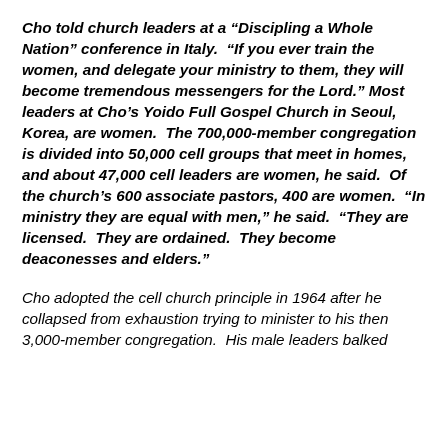Cho told church leaders at a “Discipling a Whole Nation” conference in Italy. “If you ever train the women, and delegate your ministry to them, they will become tremendous messengers for the Lord.” Most leaders at Cho’s Yoido Full Gospel Church in Seoul, Korea, are women. The 700,000-member congregation is divided into 50,000 cell groups that meet in homes, and about 47,000 cell leaders are women, he said. Of the church’s 600 associate pastors, 400 are women. “In ministry they are equal with men,” he said. “They are licensed. They are ordained. They become deaconesses and elders.”
Cho adopted the cell church principle in 1964 after he collapsed from exhaustion trying to minister to his then 3,000-member congregation. His male leaders balked at the idea of his delegating responsibility to women.